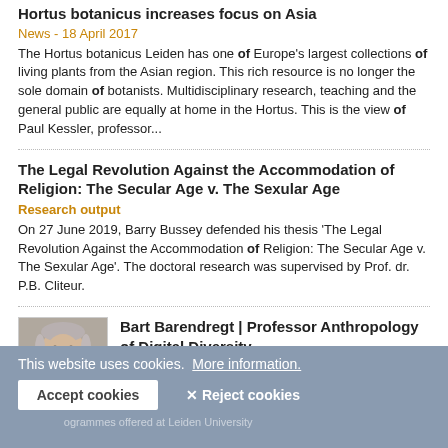Hortus botanicus increases focus on Asia
News - 18 April 2017
The Hortus botanicus Leiden has one of Europe's largest collections of living plants from the Asian region. This rich resource is no longer the sole domain of botanists. Multidisciplinary research, teaching and the general public are equally at home in the Hortus. This is the view of Paul Kessler, professor...
The Legal Revolution Against the Accommodation of Religion: The Secular Age v. The Sexular Age
Research output
On 27 June 2019, Barry Bussey defended his thesis 'The Legal Revolution Against the Accommodation of Religion: The Secular Age v. The Sexular Age'. The doctoral research was supervised by Prof. dr. P.B. Cliteur.
[Figure (photo): Portrait photo of Bart Barendregt, a man with grey hair smiling]
Bart Barendregt | Professor Anthropology of Digital Diversity
Professor by special appointment Anthropology of Digital Diversity / Scientific director
Faculteit der Sociale Wetenschappen
This website uses cookies. More information.
Accept cookies
✕ Reject cookies